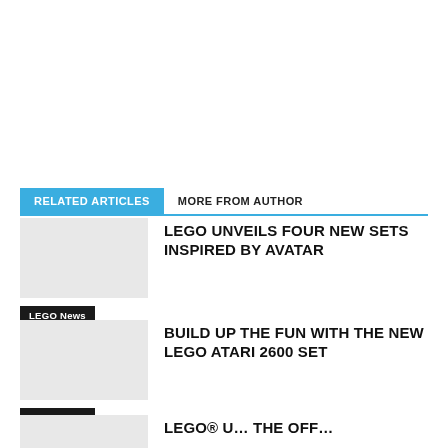RELATED ARTICLES
MORE FROM AUTHOR
LEGO UNVEILS FOUR NEW SETS INSPIRED BY AVATAR
LEGO News
BUILD UP THE FUN WITH THE NEW LEGO ATARI 2600 SET
LEGO News
LEGO® U…  The Off…